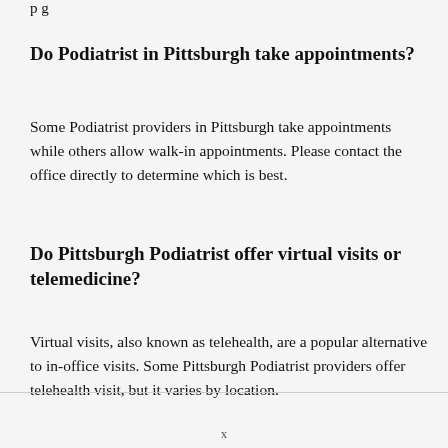Do Podiatrist in Pittsburgh take appointments?
Some Podiatrist providers in Pittsburgh take appointments while others allow walk-in appointments. Please contact the office directly to determine which is best.
Do Pittsburgh Podiatrist offer virtual visits or telemedicine?
Virtual visits, also known as telehealth, are a popular alternative to in-office visits. Some Pittsburgh Podiatrist providers offer telehealth visit, but it varies by location.
x